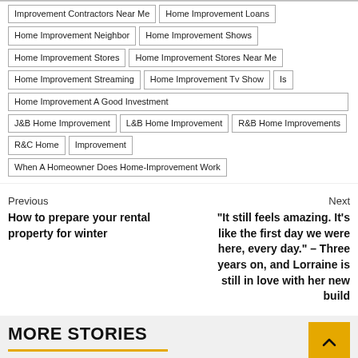Improvement Contractors Near Me
Home Improvement Loans
Home Improvement Neighbor
Home Improvement Shows
Home Improvement Stores
Home Improvement Stores Near Me
Home Improvement Streaming
Home Improvement Tv Show
Is Home Improvement A Good Investment
J&B Home Improvement
L&B Home Improvement
R&B Home Improvements
R&C Home Improvement
When A Homeowner Does Home-Improvement Work
Previous
How to prepare your rental property for winter
Next
“It still feels amazing. It’s like the first day we were here, every day.” – Three years on, and Lorraine is still in love with her new build
MORE STORIES
[Figure (photo): Dark gray image area below MORE STORIES heading]